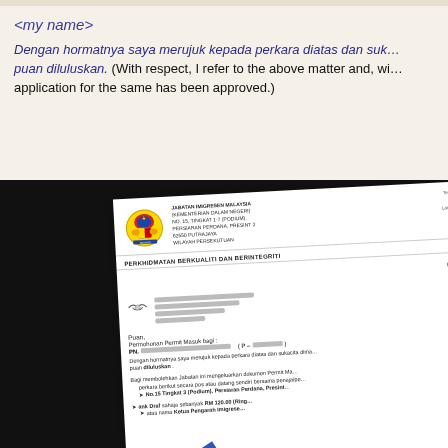<my name>
Dengan hormatnya saya merujuk kepada perkara diatas dan sukacita dima... puan diluluskan. (With respect, I refer to the above matter and, wi... application for the same has been approved.)
[Figure (photo): A photograph of an official Malaysian Immigration Department (Jabatan Imigresen Malaysia) letter showing letterhead with the Malaysian coat of arms, address details, and body text about a Permit Masuk (Entry Permit) approval. The bottom left shows a diagonal 'URUSAN SERI PA...' stamp.]